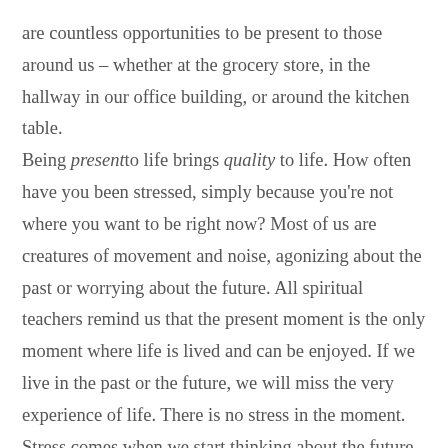are countless opportunities to be present to those around us – whether at the grocery store, in the hallway in our office building, or around the kitchen table. Being present to life brings quality to life. How often have you been stressed, simply because you're not where you want to be right now? Most of us are creatures of movement and noise, agonizing about the past or worrying about the future. All spiritual teachers remind us that the present moment is the only moment where life is lived and can be enjoyed. If we live in the past or the future, we will miss the very experience of life. There is no stress in the moment. Stress comes when we start thinking about the future or tormenting about the past. The only way to thoroughly and enjoyably